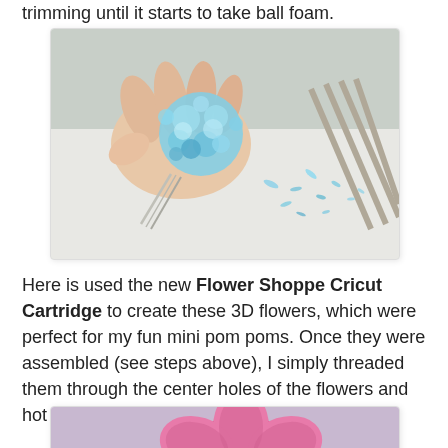trimming until it starts to take ball foam.
[Figure (photo): A hand holding a light blue pom pom being trimmed, with small yarn clippings scattered on a white surface nearby.]
Here is used the new Flower Shoppe Cricut Cartridge to create these 3D flowers, which were perfect for my fun mini pom poms. Once they were assembled (see steps above), I simply threaded them through the center holes of the flowers and hot glued into place.
[Figure (photo): A pink 3D flower made from patterned paper with a green leaf, placed against a soft purple background.]